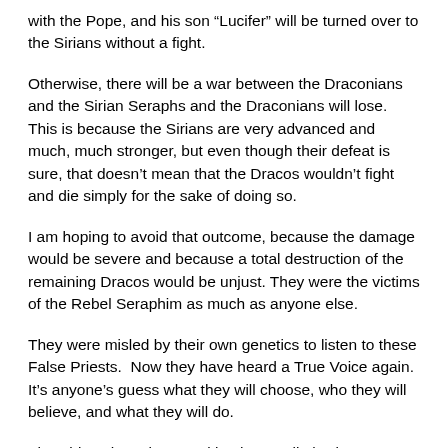with the Pope, and his son “Lucifer” will be turned over to the Sirians without a fight.
Otherwise, there will be a war between the Draconians and the Sirian Seraphs and the Draconians will lose. This is because the Sirians are very advanced and much, much stronger, but even though their defeat is sure, that doesn’t mean that the Dracos wouldn’t fight and die simply for the sake of doing so.
I am hoping to avoid that outcome, because the damage would be severe and because a total destruction of the remaining Dracos would be unjust. They were the victims of the Rebel Seraphim as much as anyone else.
They were misled by their own genetics to listen to these False Priests.  Now they have heard a True Voice again.  It’s anyone’s guess what they will choose, who they will believe, and what they will do.
The Sirians have been waiting here politely since 2012, collecting up the remaining Seraphs on this planet, both the